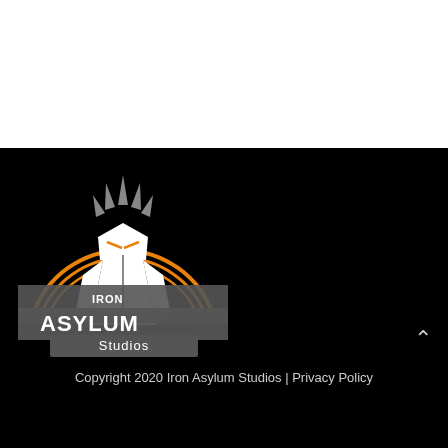[Figure (logo): Iron Asylum Studios logo: armored knight figure with crown, orange semicircular arc behind, on black background. Text reads IRON ASYLUM Studios in bold styled letters.]
Copyright 2020 Iron Asylum Studios | Privacy Policy